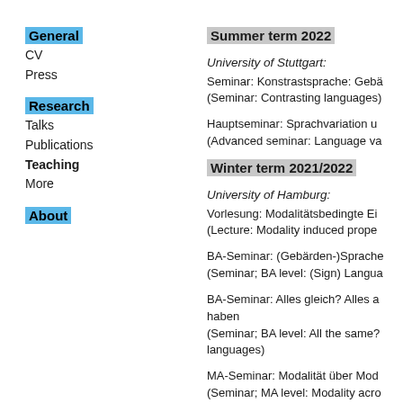General
CV
Press
Research
Talks
Publications
Teaching
More
About
Summer term 2022
University of Stuttgart:
Seminar: Konstrastsprache: Gebä
(Seminar: Contrasting languages)
Hauptseminar: Sprachvariation u
(Advanced seminar: Language va
Winter term 2021/2022
University of Hamburg:
Vorlesung: Modalitätsbedingte Ei
(Lecture: Modality induced prope
BA-Seminar: (Gebärden-)Sprache
(Seminar; BA level: (Sign) Langua
BA-Seminar: Alles gleich? Alles a haben
(Seminar; BA level: All the same? languages)
MA-Seminar: Modalität über Mod
(Seminar; MA level: Modality acro
MA-Seminar: Syntaktische (In-)Va